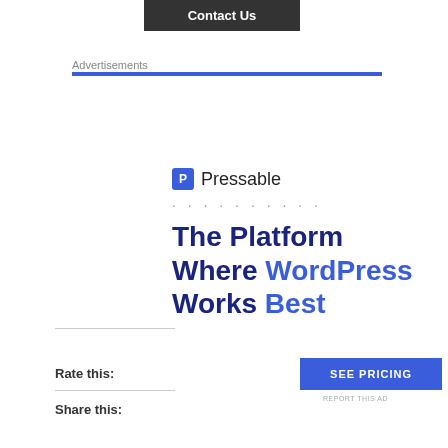Contact Us
Advertisements
[Figure (screenshot): Pressable advertisement banner: 'The Platform Where WordPress Works Best' with SEE PRICING button]
Rate this: ★★★★★ 1 Vote
Share this:
Twitter
Facebook